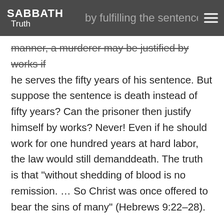SABBATH Truth — by fulfilling the sentence. In the same manner, a murderer may be justified by works if
he serves the fifty years of his sentence. But suppose the sentence is death instead of fifty years? Can the prisoner then justify himself by works? Never! Even if he should work for one hundred years at hard labor, the law would still demanddeath. The truth is that “without shedding of blood is no remission. … So Christ was once offered to bear the sins of many” (Hebrews 9:22–28).
This is why works can never save the sinner. The